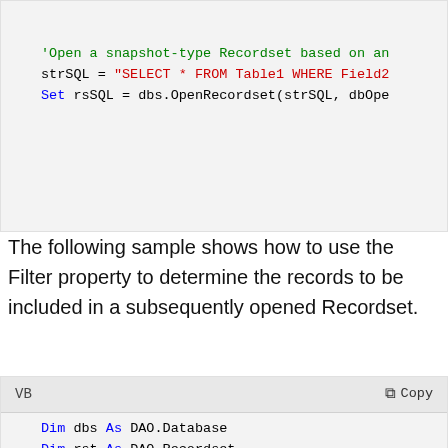[Figure (screenshot): Top code block (clipped) showing VB code with strSQL assignment and Set rsSQL = dbs.OpenRecordset call]
The following sample shows how to use the Filter property to determine the records to be included in a subsequently opened Recordset.
[Figure (screenshot): VB code block showing Dim declarations, Set dbs = CurrentDb, and start of filtered Recordset creation with comments]